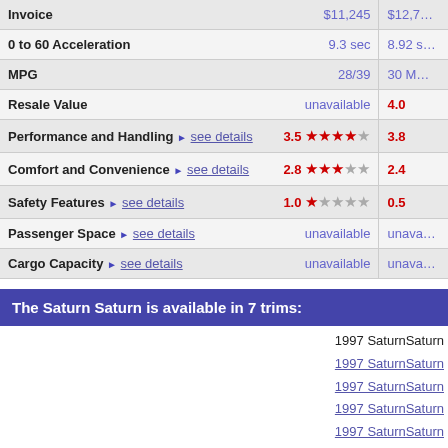| Feature | Value1 | Value2 |
| --- | --- | --- |
| Invoice | $11,245 | $12,7... |
| 0 to 60 Acceleration | 9.3 sec | 8.92 s... |
| MPG | 28/39 | 30 M... |
| Resale Value | unavailable | 4.0 |
| Performance and Handling  see details | 3.5 | 3.8 |
| Comfort and Convenience  see details | 2.8 | 2.4 |
| Safety Features  see details | 1.0 | 0.5 |
| Passenger Space  see details | unavailable | unava... |
| Cargo Capacity  see details | unavailable | unava... |
The Saturn Saturn is available in 7 trims:
1997 SaturnSaturn
1997 SaturnSaturn
1997 SaturnSaturn
1997 SaturnSaturn
1997 SaturnSaturn
1997 SaturnSaturn
1997 SaturnSaturn